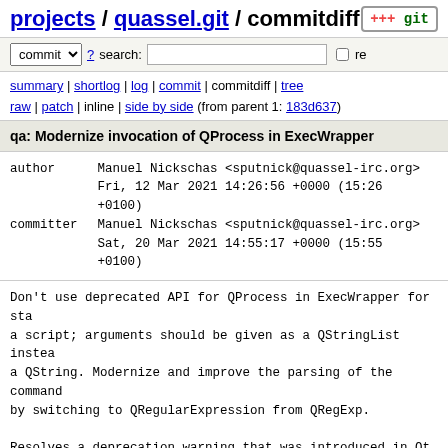projects / quassel.git / commitdiff
commit ? search: re
summary | shortlog | log | commit | commitdiff | tree
raw | patch | inline | side by side (from parent 1: 183d637)
qa: Modernize invocation of QProcess in ExecWrapper
author     Manuel Nickschas <sputnick@quassel-irc.org>
           Fri, 12 Mar 2021 14:26:56 +0000 (15:26 +0100)
committer  Manuel Nickschas <sputnick@quassel-irc.org>
           Sat, 20 Mar 2021 14:55:17 +0000 (15:55 +0100)
Don't use deprecated API for QProcess in ExecWrapper for starting a script; arguments should be given as a QStringList instead of a QString. Modernize and improve the parsing of the command by switching to QRegularExpression from QRegExp.

Resolves a deprecation warning that was introduced in Qt 5.1
src/client/execwrapper.cpp    patch | blob | history